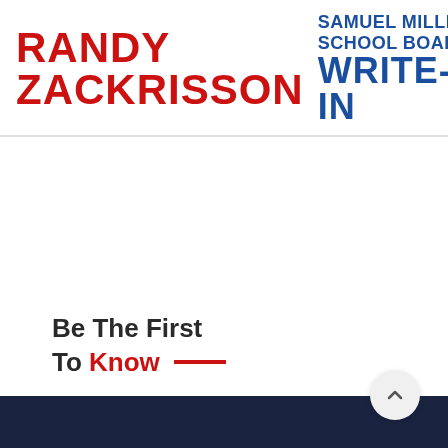[Figure (logo): Campaign logo for Randy Zackrisson, Samuel Miller School Board Write-In candidate, with a blue pencil icon]
Be The First To Know